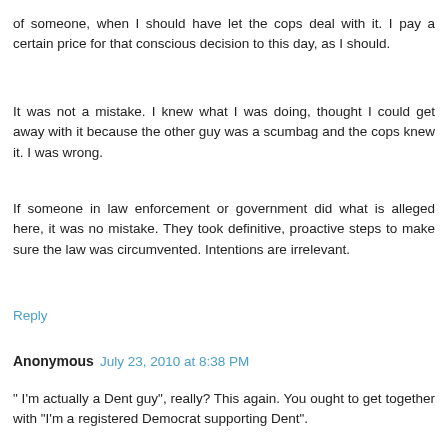of someone, when I should have let the cops deal with it. I pay a certain price for that conscious decision to this day, as I should.
It was not a mistake. I knew what I was doing, thought I could get away with it because the other guy was a scumbag and the cops knew it. I was wrong.
If someone in law enforcement or government did what is alleged here, it was no mistake. They took definitive, proactive steps to make sure the law was circumvented. Intentions are irrelevant.
Reply
Anonymous July 23, 2010 at 8:38 PM
" I'm actually a Dent guy", really? This again. You ought to get together with "I'm a registered Democrat supporting Dent".
You guys are great.
Reply